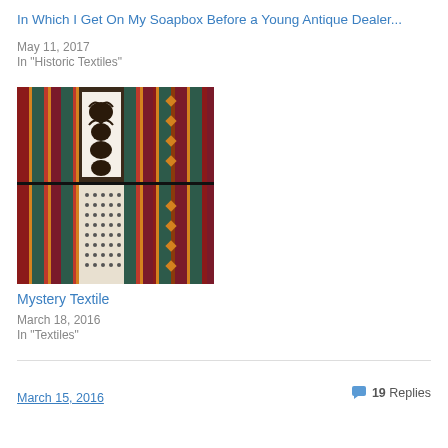[Figure (photo): Colorful striped textile fabric at top of page (partially visible cropped strip)]
In Which I Get On My Soapbox Before a Young Antique Dealer...
May 11, 2017
In "Historic Textiles"
[Figure (photo): Close-up photograph of a colorful woven textile with stripes in red, green/teal, yellow/orange, and purple, with a white patterned central band featuring dark curvilinear designs]
Mystery Textile
March 18, 2016
In "Textiles"
March 15, 2016
19 Replies